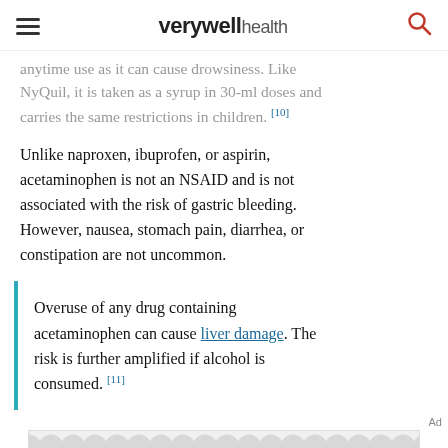verywell health
anytime use as it can cause drowsiness. Like NyQuil, it is taken as a syrup in 30-ml doses and carries the same restrictions in children. [10]
Unlike naproxen, ibuprofen, or aspirin, acetaminophen is not an NSAID and is not associated with the risk of gastric bleeding. However, nausea, stomach pain, diarrhea, or constipation are not uncommon.
Overuse of any drug containing acetaminophen can cause liver damage. The risk is further amplified if alcohol is consumed. [11]
Ad